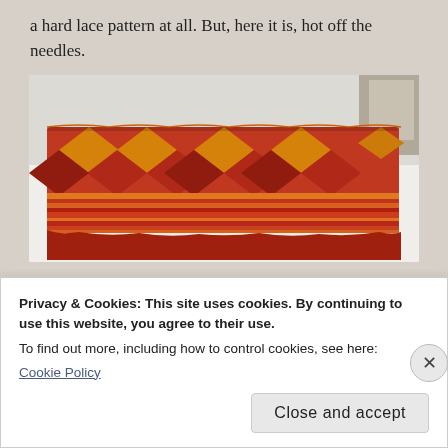a hard lace pattern at all. But, here it is, hot off the needles.
[Figure (photo): A knitted or crocheted blanket/shawl with a diamond pattern in red, orange, and gold/yellow colors, laid flat on a white surface. The item shows stripes at the bottom and appears lumpy/unblocked.]
There are strings, and it is lumpy, but you get the idea.
I actually love the colors of this one. I chose...
Privacy & Cookies: This site uses cookies. By continuing to use this website, you agree to their use.
To find out more, including how to control cookies, see here:
Cookie Policy
Close and accept